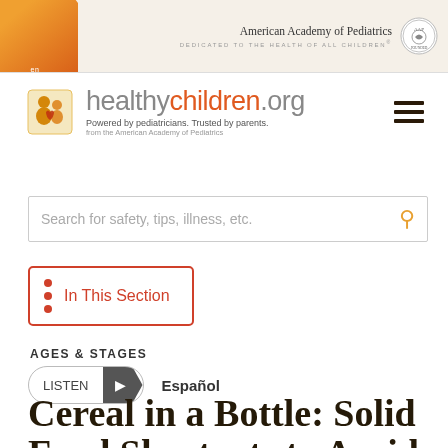[Figure (logo): Orange circular badge with 'en ESPAÑOL' text, healthychildren.org logo with icon, and American Academy of Pediatrics header logo]
Search for safety, tips, illness, etc.
In This Section
AGES & STAGES
LISTEN  Español
Cereal in a Bottle: Solid Food Shortcuts to Avoid